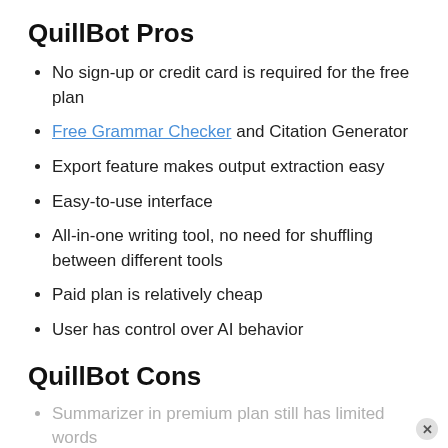QuillBot Pros
No sign-up or credit card is required for the free plan
Free Grammar Checker and Citation Generator
Export feature makes output extraction easy
Easy-to-use interface
All-in-one writing tool, no need for shuffling between different tools
Paid plan is relatively cheap
User has control over AI behavior
QuillBot Cons
Summarizer in premium plan still has limited words